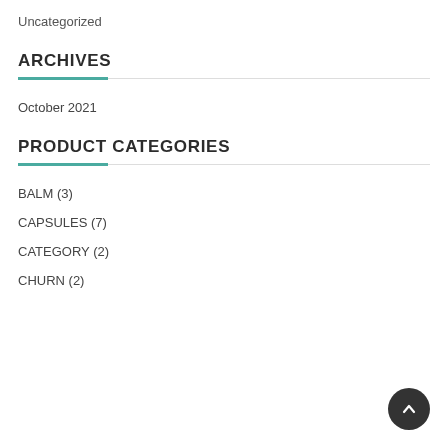Uncategorized
ARCHIVES
October 2021
PRODUCT CATEGORIES
BALM (3)
CAPSULES (7)
CATEGORY (2)
CHURN (2)